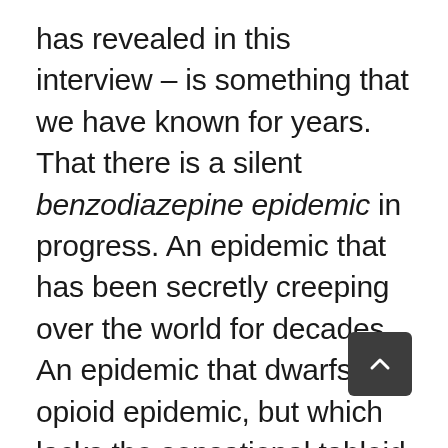has revealed in this interview – is something that we have known for years. That there is a silent benzodiazepine epidemic in progress. An epidemic that has been secretly creeping over the world for decades. An epidemic that dwarfs the opioid epidemic, but which lacks the sensational tabloid angle. An epidemic that started in Europe and North America, but which has now spread across Asia. An epidemic which, like the opioid crisis, is largely iatrogenic in its origins. In plain English – an epidemic of drug addiction that is caused by moronically ignorant